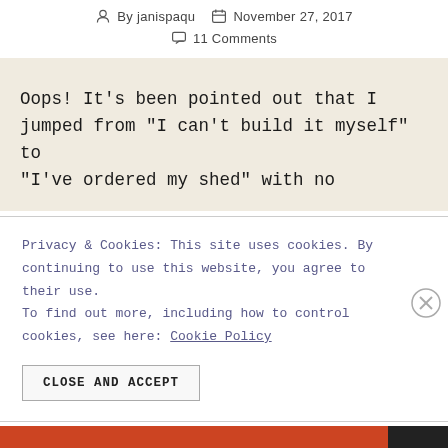By janispaqu   November 27, 2017
11 Comments
Oops! It’s been pointed out that I jumped from “I can’t build it myself” to “I’ve ordered my shed” with no
Privacy & Cookies: This site uses cookies. By continuing to use this website, you agree to their use.
To find out more, including how to control cookies, see here: Cookie Policy
CLOSE AND ACCEPT